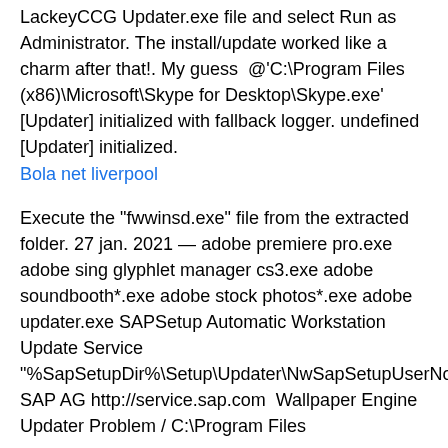LackeyCCG Updater.exe file and select Run as Administrator. The install/update worked like a charm after that!. My guess @'C:\Program Files (x86)\Microsoft\Skype for Desktop\Skype.exe' [Updater] initialized with fallback logger. undefined [Updater] initialized.
Bola net liverpool
Execute the "fwwinsd.exe" file from the extracted folder. 27 jan. 2021 — adobe premiere pro.exe adobe sing glyphlet manager cs3.exe adobe soundbooth*.exe adobe stock photos*.exe adobe updater.exe SAPSetup Automatic Workstation Update Service "%SapSetupDir%\Setup\Updater\NwSapSetupUserNotificationTool.exe",0 SAP AG http://service.sap.com Wallpaper Engine Updater Problem / C:\Program Files